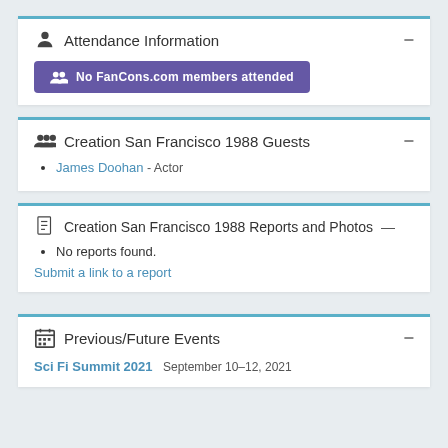Attendance Information
No FanCons.com members attended
Creation San Francisco 1988 Guests
James Doohan - Actor
Creation San Francisco 1988 Reports and Photos
No reports found.
Submit a link to a report
Previous/Future Events
Sci Fi Summit 2021   September 10–12, 2021